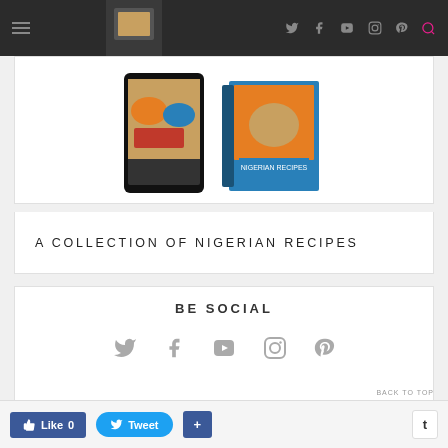[Figure (screenshot): Website navigation bar with hamburger menu icon on left and social media icons (Twitter, Facebook, YouTube, Instagram, Pinterest, Search) on right against dark background]
[Figure (photo): Nigerian recipe book cover showing food images on a phone and book mockup with colorful dishes]
A COLLECTION OF NIGERIAN RECIPES
BE SOCIAL
[Figure (infographic): Social media icons row: Twitter, Facebook, YouTube, Instagram, Pinterest in gray]
Like 0  Tweet  +  t